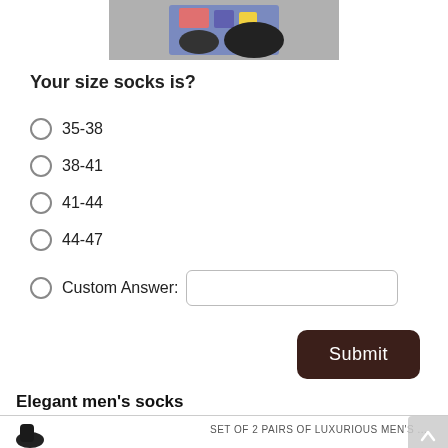[Figure (photo): Partial photo of colorful socks or footwear on a grey surface, cropped at top of page]
Your size socks is?
35-38
38-41
41-44
44-47
Custom Answer:
Submit
Elegant men's socks
SET OF 2 PAIRS OF LUXURIOUS MEN'S ...